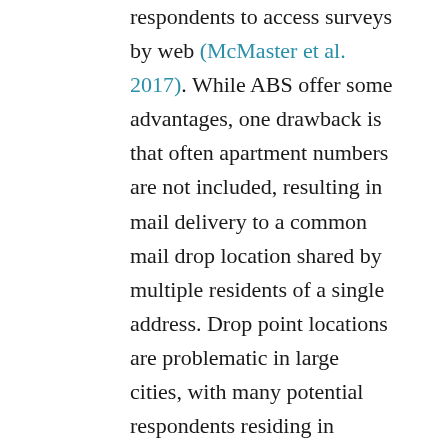respondents to access surveys by web (McMaster et al. 2017). While ABS offer some advantages, one drawback is that often apartment numbers are not included, resulting in mail delivery to a common mail drop location shared by multiple residents of a single address. Drop point locations are problematic in large cities, with many potential respondents residing in multifamily building and may also be problematic in rural areas where many families share a common delivery point. Multifamily drop point may bias the sample by reducing the chances of persons with such addresses to receive invitations to participate (American Association of Public